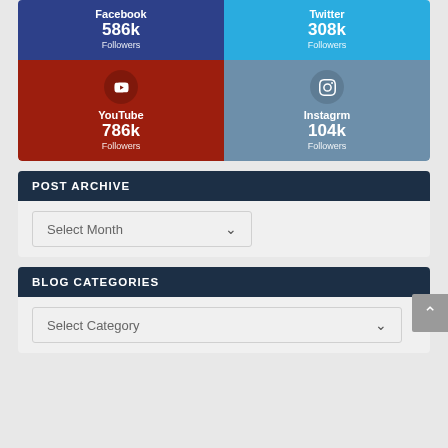[Figure (infographic): Social media followers grid: Facebook 586k, Twitter 308k, YouTube 786k, Instagrm 104k]
POST ARCHIVE
Select Month
BLOG CATEGORIES
Select Category